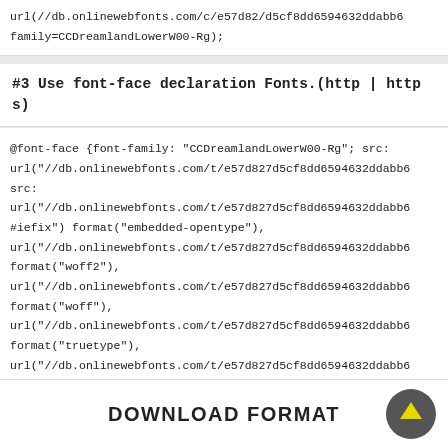url(//db.onlinewebfonts.com/c/e57d82/d5cf8dd6594632ddabb6
family=CCDreamlandLowerW00-Rg);
#3 Use font-face declaration Fonts.(http | https)
@font-face {font-family: "CCDreamlandLowerW00-Rg"; src:
url("//db.onlinewebfonts.com/t/e57d827d5cf8dd6594632ddabb6
src:
url("//db.onlinewebfonts.com/t/e57d827d5cf8dd6594632ddabb6
#iefix") format("embedded-opentype"),
url("//db.onlinewebfonts.com/t/e57d827d5cf8dd6594632ddabb6
format("woff2"),
url("//db.onlinewebfonts.com/t/e57d827d5cf8dd6594632ddabb6
format("woff"),
url("//db.onlinewebfonts.com/t/e57d827d5cf8dd6594632ddabb6
format("truetype"),
url("//db.onlinewebfonts.com/t/e57d827d5cf8dd6594632ddabb6
Rg") format("svg"); }
DOWNLOAD FORMAT